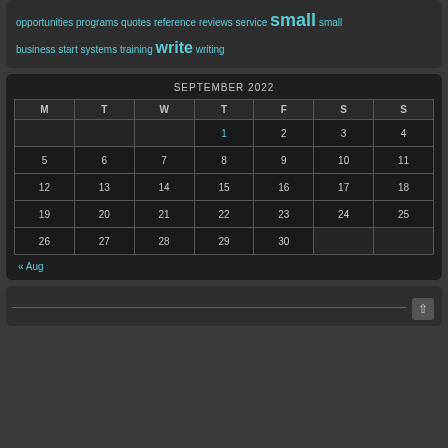opportunities programs quotes reference reviews service small small business start systems training write writing
| M | T | W | T | F | S | S |
| --- | --- | --- | --- | --- | --- | --- |
|  |  |  | 1 | 2 | 3 | 4 |
| 5 | 6 | 7 | 8 | 9 | 10 | 11 |
| 12 | 13 | 14 | 15 | 16 | 17 | 18 |
| 19 | 20 | 21 | 22 | 23 | 24 | 25 |
| 26 | 27 | 28 | 29 | 30 |  |  |
« Aug